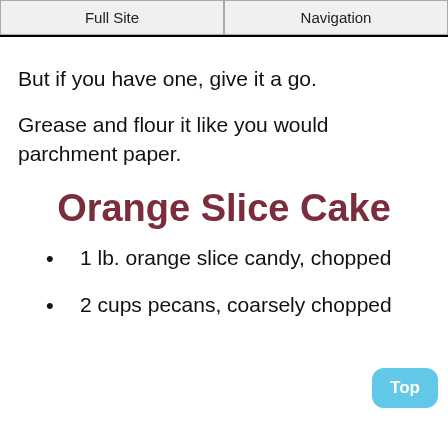Full Site | Navigation
But if you have one, give it a go.
Grease and flour it like you would parchment paper.
Orange Slice Cake
1 lb. orange slice candy, chopped
2 cups pecans, coarsely chopped